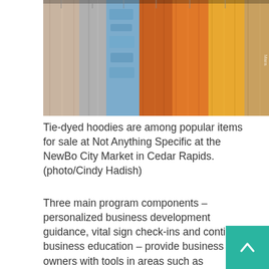[Figure (photo): Photo of colorful clothes hanging on a rack — tie-dyed hoodies and other garments in beige, blue, orange, and yellow tones. A watermark is visible on the right edge.]
Tie-dyed hoodies are among popular items for sale at Not Anything Specific at the NewBo City Market in Cedar Rapids. (photo/Cindy Hadish)
Three main program components – personalized business development guidance, vital sign check-ins and continuing business education – provide business owners with tools in areas such as developing a business plan and marketing skills.
"It really did generate a lot of interest," said Julie Parisi, NewBo City Market's new executive director, citing 25 organic inquiries in the initial weeks after the announcement of the program and another dozen since then. "To me, it indicated we were meeting a need in the community."